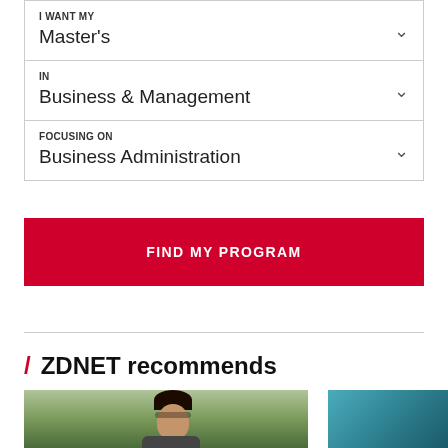I WANT MY
Master's
IN
Business & Management
FOCUSING ON
Business Administration
FIND MY PROGRAM
/ ZDNET recommends
[Figure (photo): Person with curly hair and glasses, blurred background with greenery]
[Figure (photo): Teal/blue background, partial image]